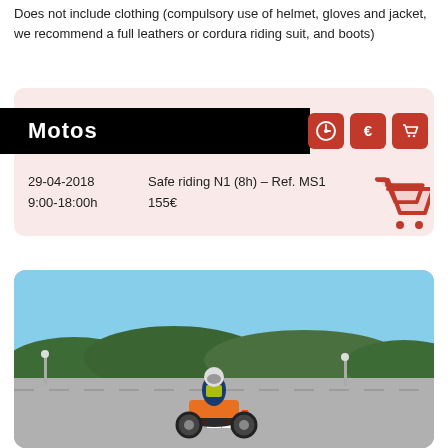Does not include clothing (compulsory use of helmet, gloves and jacket, we recommend a full leathers or cordura riding suit, and boots)
Motos
29-04-2018   Safe riding N1 (8h) – Ref. MS1
9:00-18:00h   155€
[Figure (photo): Motorcyclist riding an orange sports bike through orange cones on a track, with trees and blue sky in the background.]